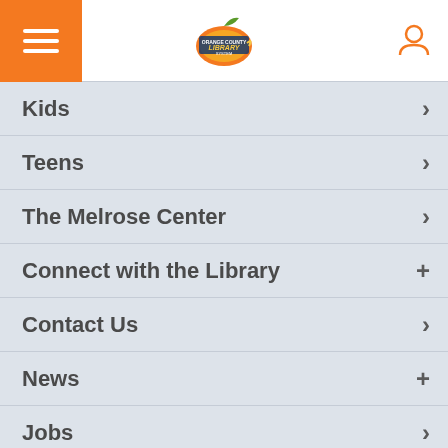Orange County Library System navigation header with hamburger menu, logo, and user icon
Kids >
Teens >
The Melrose Center >
Connect with the Library +
Contact Us >
News +
Jobs >
Support the Library +